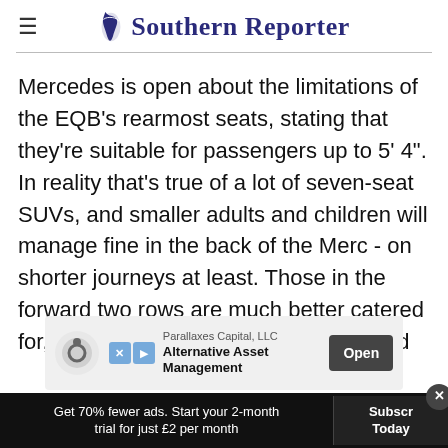Southern Reporter
Mercedes is open about the limitations of the EQB's rearmost seats, stating that they're suitable for passengers up to 5' 4". In reality that's true of a lot of seven-seat SUVs, and smaller adults and children will manage fine in the back of the Merc - on shorter journeys at least. Those in the forward two rows are much better catered for, with plenty of head and legroom and adjustment for those in the very front.
[Figure (screenshot): Advertisement banner for Parallaxes Capital, LLC - Alternative Asset Management with an Open button]
Get 70% fewer ads. Start your 2-month trial for just £2 per month
Subscribe Today